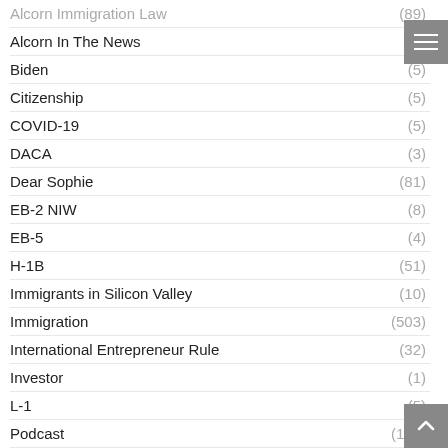Alcorn Immigration Law (89)
Alcorn In The News (1)
Biden (5)
Citizenship (5)
COVID-19 (5)
DACA (3)
Dear Sophie (81)
EB-2 NIW (8)
EB-5 (4)
H-1B (51)
Immigrants in Silicon Valley (10)
Immigration (503)
International Entrepreneur Rule (32)
Investor (1)
L-1 (5)
Podcast (128)
Startups (15)
Students (2)
Team Spotlight (4)
Trump (16)